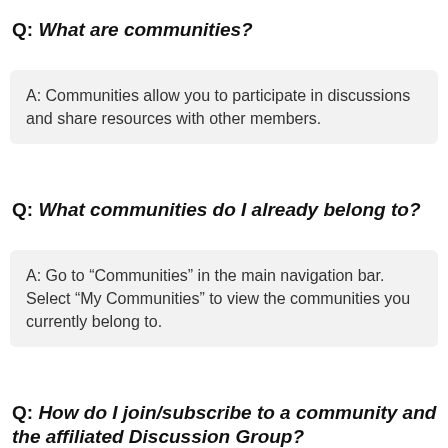Q: What are communities?
A: Communities allow you to participate in discussions and share resources with other members.
Q: What communities do I already belong to?
A: Go to “Communities” in the main navigation bar. Select “My Communities” to view the communities you currently belong to.
Q: How do I join/subscribe to a community and the affiliated Discussion Group?